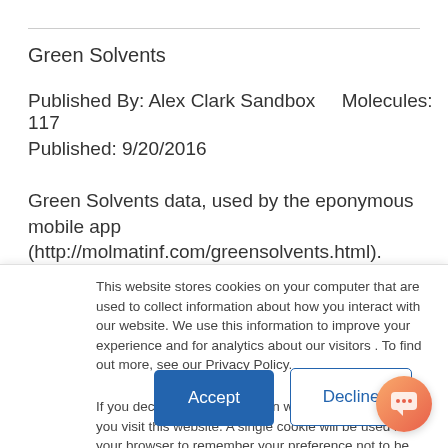Green Solvents
Published By: Alex Clark Sandbox    Molecules: 117
Published: 9/20/2016
Green Solvents data, used by the eponymous mobile app (http://molmatinf.com/greensolvents.html). Compiled from information published by the ACS Green Chemistry Institute and GSK Solvent Guide. Published in...
This website stores cookies on your computer that are used to collect information about how you interact with our website. We use this information to improve your experience and for analytics about our visitors . To find out more, see our Privacy Policy.
If you decline, your information won't be tracked when you visit this website. A single cookie will be used in your browser to remember your preference not to be tracked.